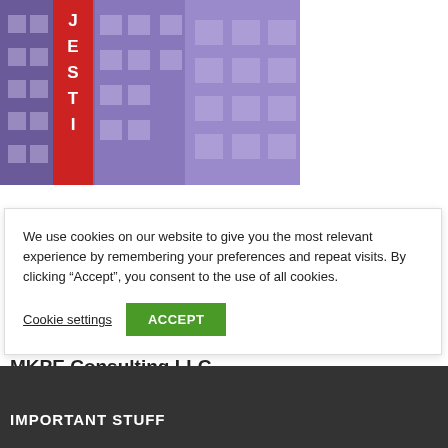[Figure (photo): Photo of a building facade with a red neon sign reading letters J, E, S, T, I vertically, lit in red against a purple/blue building exterior with windows]
We use cookies on our website to give you the most relevant experience by remembering your preferences and repeat visits. By clicking “Accept”, you consent to the use of all cookies.
Cookie settings
ACCEPT
MKPE Consulting LLC
IMPORTANT STUFF